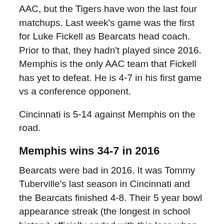AAC, but the Tigers have won the last four matchups. Last week's game was the first for Luke Fickell as Bearcats head coach. Prior to that, they hadn't played since 2016. Memphis is the only AAC team that Fickell has yet to defeat. He is 4-7 in his first game vs a conference opponent.
Cincinnati is 5-14 against Memphis on the road.
Memphis wins 34-7 in 2016
Bearcats were bad in 2016. It was Tommy Tuberville's last season in Cincinnati and the Bearcats finished 4-8. Their 5 year bowl appearance streak (the longest in school history) officially ended with this loss when Cincinnati fell to 4-7.
Cincinnati had just 244 yards of total offense. Their only score came on a touchdown with under 3 minutes